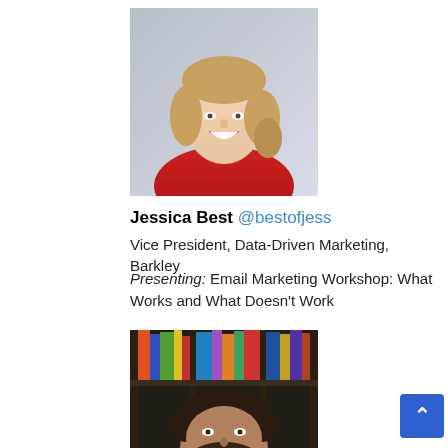[Figure (photo): Headshot of Jessica Best, a woman with blonde wavy hair, smiling, wearing a red dress, against a light gray background.]
Jessica Best @bestofjess
Vice President, Data-Driven Marketing, Barkley
Presenting: Email Marketing Workshop: What Works and What Doesn't Work
[Figure (photo): Partial headshot of a man with dark hair and beard, in front of a bookshelf with colorful books.]